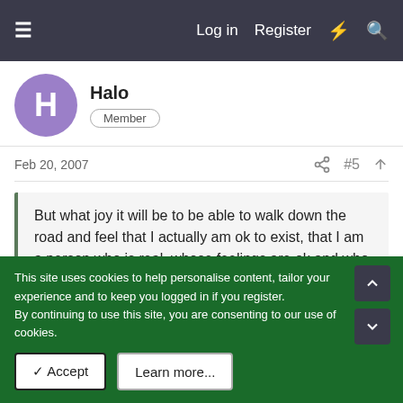Log in   Register
Halo
Member
Feb 20, 2007   #5
But what joy it will be to be able to walk down the road and feel that I actually am ok to exist, that I am a person who is real, whose feelings are ok and who people areen't out to hurt.
I too hope for that same joy someday exactly as you have described it. I or make that we, have to hold onto hope that it can happen.
This site uses cookies to help personalise content, tailor your experience and to keep you logged in if you register.
By continuing to use this site, you are consenting to our use of cookies.
✓ Accept   Learn more...